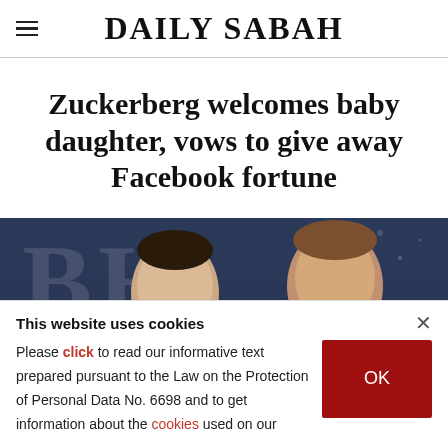DAILY SABAH
Zuckerberg welcomes baby daughter, vows to give away Facebook fortune
[Figure (photo): Photo of two people (a woman on the left and a man on the right) in front of a dark blue background with large white letters partially visible.]
This website uses cookies
Please click to read our informative text prepared pursuant to the Law on the Protection of Personal Data No. 6698 and to get information about the cookies used on our